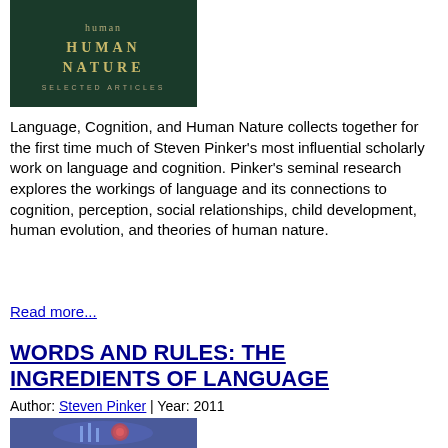[Figure (photo): Book cover for 'Language, Cognition, and Human Nature: Selected Articles' with dark green background and gold lettering]
Language, Cognition, and Human Nature collects together for the first time much of Steven Pinker's most influential scholarly work on language and cognition. Pinker's seminal research explores the workings of language and its connections to cognition, perception, social relationships, child development, human evolution, and theories of human nature.
Read more...
WORDS AND RULES: THE INGREDIENTS OF LANGUAGE
Author: Steven Pinker | Year: 2011
[Figure (illustration): Book cover for 'Words and Rules: The Ingredients of Language' with blue/purple background and stylized brain and city imagery]